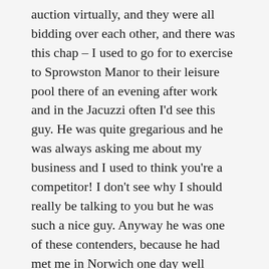auction virtually, and they were all bidding over each other, and there was this chap – I used to go for to exercise to Sprowston Manor to their leisure pool there of an evening after work and in the Jacuzzi often I'd see this guy. He was quite gregarious and he was always asking me about my business and I used to think you're a competitor! I don't see why I should really be talking to you but he was such a nice guy. Anyway he was one of these contenders, because he had met me in Norwich one day well afterwards and he said, 'Anytime you're thinking of selling let me know.' So he was approached as well.
And as I say this whole thing they just kept outbidding each other until I got more than double my original offer and this chap Mike was the one. I